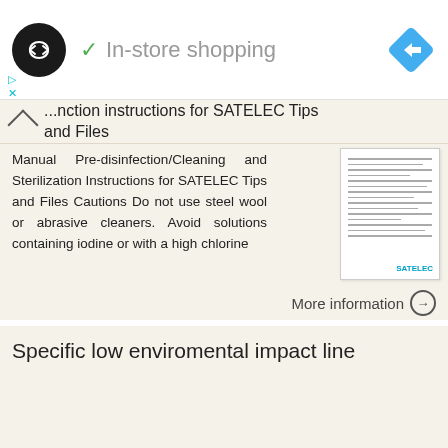[Figure (logo): Black circular logo with double arrow/infinity symbol, checkmark with 'In-store shopping' label, and blue navigation diamond icon on right]
...nction instructions for SATELEC Tips and Files
Manual Pre-disinfection/Cleaning and Sterilization Instructions for SATELEC Tips and Files Cautions Do not use steel wool or abrasive cleaners. Avoid solutions containing iodine or with a high chlorine
[Figure (screenshot): Thumbnail of a document page with text lines]
More information →
Specific low enviromental impact line
Specific low enviromental impact line INDEX CAM p. 7 KITCHEN Kitchen & sanitising RIGHT DOSAGE Floors Furniture & surfaces Bathroom p. 13 DETERGENTS Monodose System BATHROOM DEODORISERS Automatic
[Figure (photo): MARKA branded product image with green plant/leaf imagery on blue background]